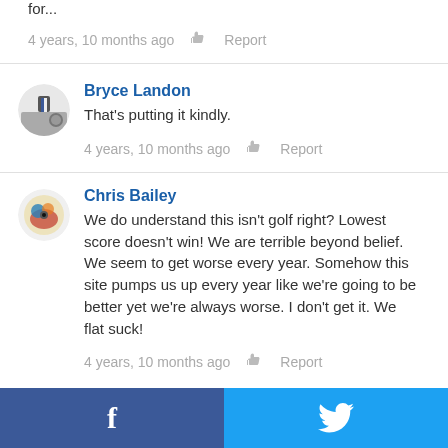for...
4 years, 10 months ago   Report
Bryce Landon
That's putting it kindly.
4 years, 10 months ago   Report
Chris Bailey
We do understand this isn't golf right? Lowest score doesn't win! We are terrible beyond belief. We seem to get worse every year. Somehow this site pumps us up every year like we're going to be better yet we're always worse. I don't get it. We flat suck!
4 years, 10 months ago   Report
[Figure (logo): Facebook and Twitter share buttons at the bottom]